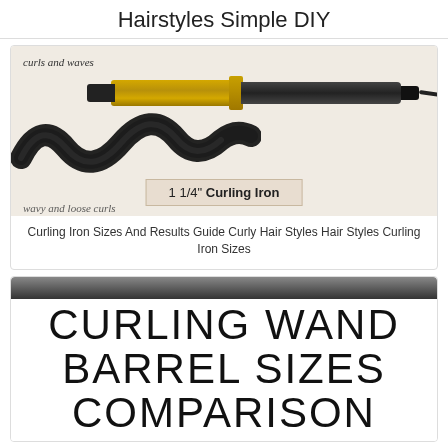Hairstyles Simple DIY
[Figure (photo): Curling iron with gold barrel holding curled dark hair strand, label showing '1 1/4" Curling Iron', beige background with text 'curls and waves' and 'wavy and loose curls']
Curling Iron Sizes And Results Guide Curly Hair Styles Hair Styles Curling Iron Sizes
[Figure (photo): Second card with dark gradient top bar and large text reading CURLING WAND BARREL SIZES COMPARISON on white background]